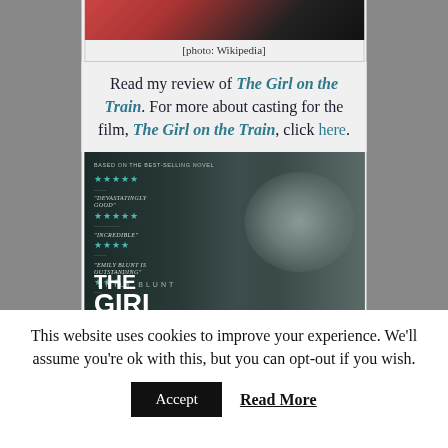[Figure (photo): Photo credit caption: [photo: Wikipedia] below a partially visible photo at the top]
[photo: Wikipedia]
Read my review of The Girl on the Train. For more about casting for the film, The Girl on the Train, click here.
[Figure (photo): Movie poster for 'The Girl on the Train' featuring Emily Blunt, with review quotes: 'Devastatingly Good', 'Incredible', 'Emily Blunt is Outstanding', and star ratings. Text reads EMILY BLUNT / THE GIRL ON THE (TRAIN)]
This website uses cookies to improve your experience. We'll assume you're ok with this, but you can opt-out if you wish.
Accept   Read More